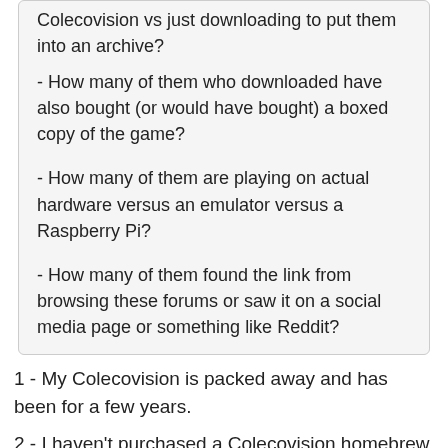Colecovision vs just downloading to put them into an archive?
- How many of them who downloaded have also bought (or would have bought) a boxed copy of the game?
- How many of them are playing on actual hardware versus an emulator versus a Raspberry Pi?
- How many of them found the link from browsing these forums or saw it on a social media page or something like Reddit?
1 - My Colecovision is packed away and has been for a few years.
2 - I haven't purchased a Colecovision homebrew since